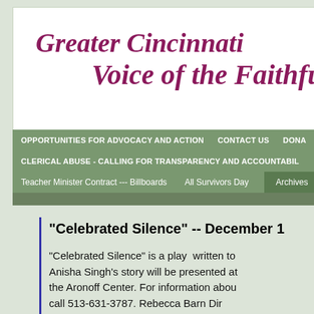Greater Cincinnati Voice of the Faithful
OPPORTUNITIES FOR ADVOCACY AND ACTION   CONTACT US   DONA
CLERICAL ABUSE - CALLING FOR TRANSPARENCY AND ACCOUNTABIL
Teacher Minister Contract --- Billboards   All Survivors Day   Archives
"Celebrated Silence"  --  December 1
"Celebrated Silence" is a play  written to Anisha Singh's story will be presented at the Aronoff Center. For information abou call 513-631-3787. Rebecca Barn Dir